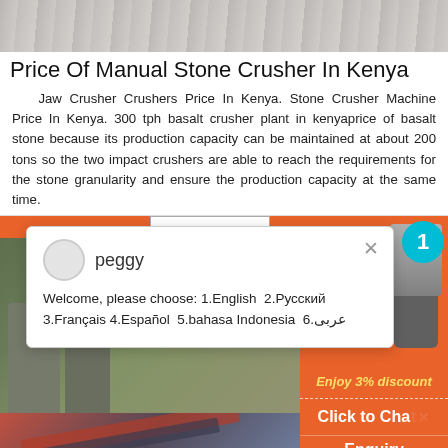[Figure (photo): Top partial image of stone crusher machinery or rocky terrain, showing gray/beige textured surface]
Price Of Manual Stone Crusher In Kenya
Jaw Crusher Crushers Price In Kenya. Stone Crusher Machine Price In Kenya. 300 tph basalt crusher plant in kenyaprice of basalt stone because its production capacity can be maintained at about 200 tons so the two impact crushers are able to reach the requirements for the stone granularity and ensure the production capacity at the same time.
[Figure (screenshot): Chat popup overlay with avatar for 'peggy' and multilingual welcome message: 'Welcome, please choose: 1.English 2.Русский 3.Français 4.Español 5.bahasa Indonesia 6.عربى']
[Figure (photo): Industrial crusher plant with conveyors and silos in outdoor setting]
[Figure (photo): Bottom partial photo of red and dark industrial machinery at an angle]
[Figure (infographic): Orange sidebar showing crusher product images, a cyan badge with '1', 'Enjoy 3% discount' in yellow italic, 'Click to Chat' in white bold, and 'Enquiry' button]